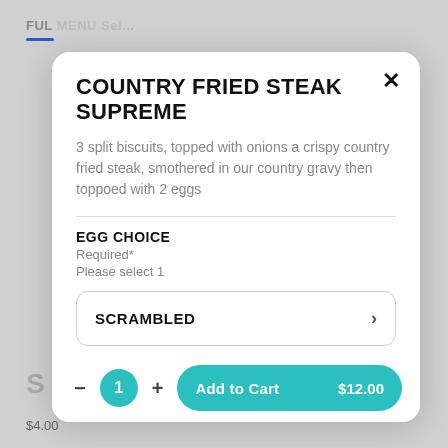COUNTRY FRIED STEAK SUPREME
3 split biscuits, topped with onions a crispy country fried steak, smothered in our country gravy then toppoed with 2 eggs
EGG CHOICE
Required*
Please select 1
SCRAMBLED
BASTED
Add to Cart  $12.00